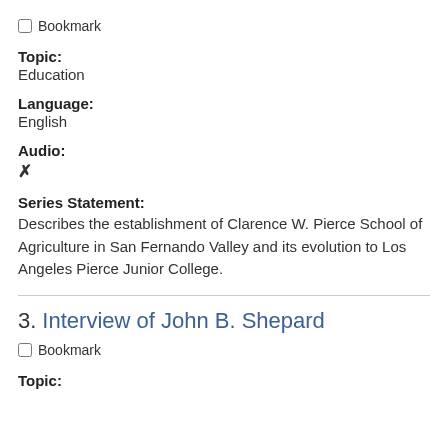Bookmark
Topic:
Education
Language:
English
Audio:
✗
Series Statement:
Describes the establishment of Clarence W. Pierce School of Agriculture in San Fernando Valley and its evolution to Los Angeles Pierce Junior College.
3. Interview of John B. Shepard
Bookmark
Topic: